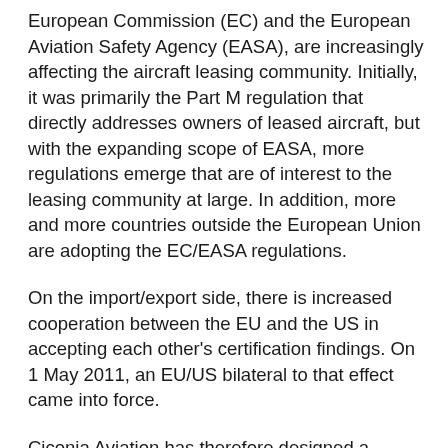European Commission (EC) and the European Aviation Safety Agency (EASA), are increasingly affecting the aircraft leasing community. Initially, it was primarily the Part M regulation that directly addresses owners of leased aircraft, but with the expanding scope of EASA, more regulations emerge that are of interest to the leasing community at large. In addition, more and more countries outside the European Union are adopting the EC/EASA regulations.
On the import/export side, there is increased cooperation between the EU and the US in accepting each other's certification findings. On 1 May 2011, an EU/US bilateral to that effect came into force.
Ciconia Aviation has therefore designed a course that explains the whole gamma of existing and near-future EASA regulations to lessors, as well as the EU/US bilateral. In addition to elucidating the complex structure of the regulations, and highlighting those that are of particular